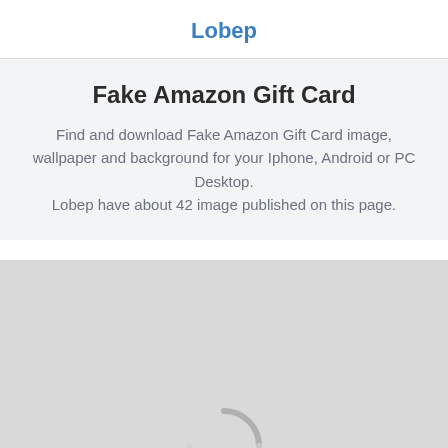Lobep
Fake Amazon Gift Card
Find and download Fake Amazon Gift Card image, wallpaper and background for your Iphone, Android or PC Desktop.
Lobep have about 42 image published on this page.
[Figure (illustration): Loading placeholder — light grey rectangle with a partial circular spinner/loading icon visible at the bottom center]